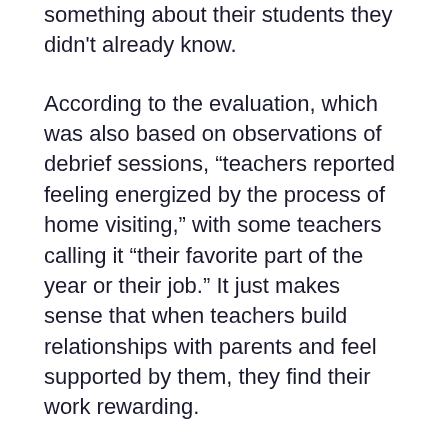something about their students they didn't already know.
According to the evaluation, which was also based on observations of debrief sessions, “teachers reported feeling energized by the process of home visiting,” with some teachers calling it “their favorite part of the year or their job.” It just makes sense that when teachers build relationships with parents and feel supported by them, they find their work rewarding.
Home visits also helped teachers strengthen their connections with colleagues. As the evaluation makes clear, “in a profession that